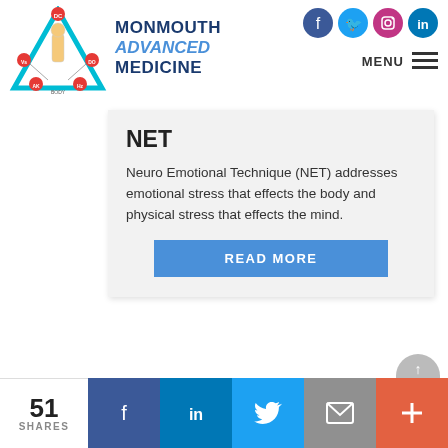[Figure (logo): Monmouth Advanced Medicine logo: triangle with human body figure and labels DC, DO, Vs, AK, Hz, BODY]
MONMOUTH ADVANCED MEDICINE
NET
Neuro Emotional Technique (NET) addresses emotional stress that effects the body and physical stress that effects the mind.
READ MORE
51 SHARES